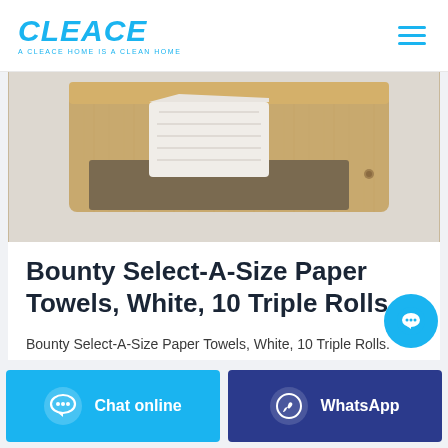CLEACE — A CLEACE HOME IS A CLEAN HOME
[Figure (photo): Photo of a wooden wall-mounted paper towel dispenser with a paper towel sheet hanging out, mounted on a light-colored wall.]
Bounty Select-A-Size Paper Towels, White, 10 Triple Rolls ...
Bounty Select-A-Size Paper Towels, White, 10 Triple Rolls.
Chat online | WhatsApp